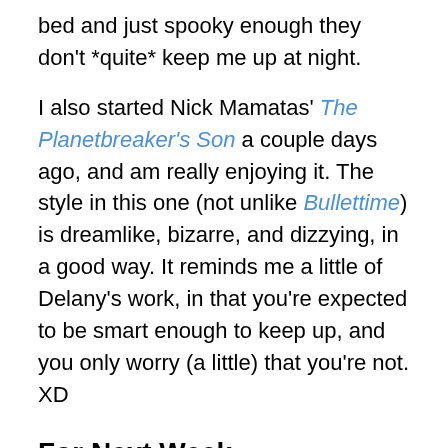bed and just spooky enough they don't *quite* keep me up at night.
I also started Nick Mamatas' The Planetbreaker's Son a couple days ago, and am really enjoying it. The style in this one (not unlike Bullettime) is dreamlike, bizarre, and dizzying, in a good way. It reminds me a little of Delany's work, in that you're expected to be smart enough to keep up, and you only worry (a little) that you're not. XD
For Next Week…
Next week, we charge through another 3k of the book and then seriously look at getting my synopsis roughed in before it's due in a couple weeks. If there's time (big if), I might try to wrap up the last few scenes of a story I started